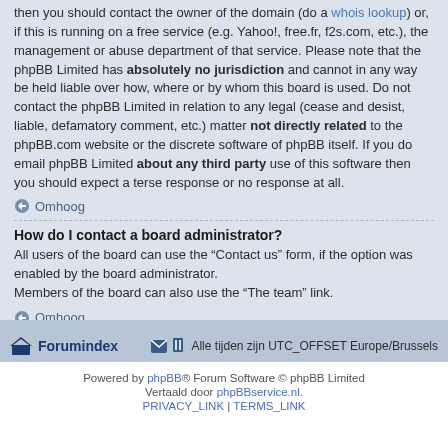then you should contact the owner of the domain (do a whois lookup) or, if this is running on a free service (e.g. Yahoo!, free.fr, f2s.com, etc.), the management or abuse department of that service. Please note that the phpBB Limited has absolutely no jurisdiction and cannot in any way be held liable over how, where or by whom this board is used. Do not contact the phpBB Limited in relation to any legal (cease and desist, liable, defamatory comment, etc.) matter not directly related to the phpBB.com website or the discrete software of phpBB itself. If you do email phpBB Limited about any third party use of this software then you should expect a terse response or no response at all.
Omhoog
How do I contact a board administrator?
All users of the board can use the “Contact us” form, if the option was enabled by the board administrator.
Members of the board can also use the “The team” link.
Omhoog
Forumindex   Alle tijden zijn UTC_OFFSET Europe/Brussels
Powered by phpBB® Forum Software © phpBB Limited
Vertaald door phpBBservice.nl.
PRIVACY_LINK | TERMS_LINK